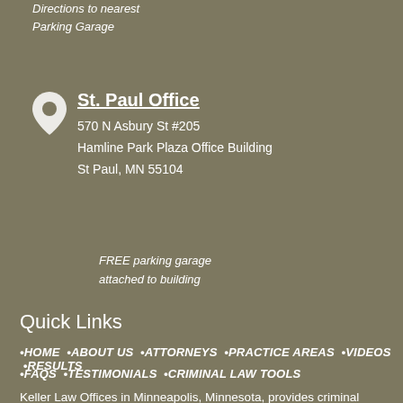Directions to nearest
Parking Garage
St. Paul Office
570 N Asbury St #205
Hamline Park Plaza Office Building
St Paul, MN 55104
FREE parking garage
attached to building
Quick Links
•HOME  •ABOUT US  •ATTORNEYS  •PRACTICE AREAS  •VIDEOS  •RESULTS
•FAQS  •TESTIMONIALS  •CRIMINAL LAW TOOLS
Keller Law Offices in Minneapolis, Minnesota, provides criminal defense services to clients throughout the Twin Cites metro area. Attorney Keller defends clients throughout Minneapolis, St. Paul, Andover, Apple Valley, Blaine,